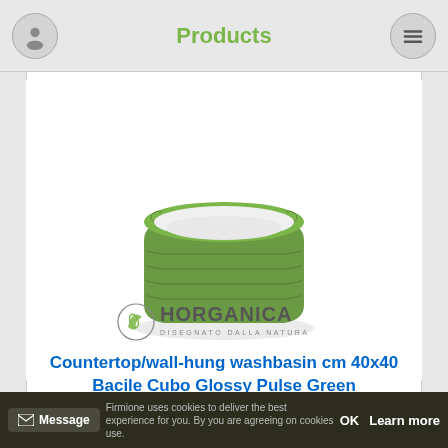Products
[Figure (photo): Green square washbasin/basin with white interior, rounded corners, ridged sides (Bacile Cubo Glossy Pulse Green)]
Countertop/wall-hung washbasin cm 40x40 Bacile Cubo Glossy Pulse Green
[Figure (logo): Horganica brand logo — circular leaf icon with stylized text HORGANICA and tagline 'DISEGNATO DALLA NATURA']
Firmione uses cookies to deliver the best experience for you. By you are agreeing on cookies use. OK Learn more